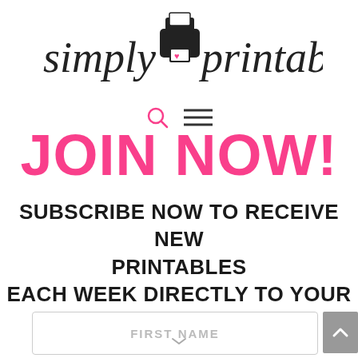[Figure (logo): Simply Printables logo with a printer icon and cursive text]
[Figure (infographic): Navigation icons: search (circle) and hamburger menu (three lines)]
JOIN NOW!
SUBSCRIBE NOW TO RECEIVE NEW PRINTABLES EACH WEEK DIRECTLY TO YOUR INBOX
[Figure (screenshot): FIRST NAME text input field with rounded border]
[Figure (other): Gray scroll-to-top button with upward chevron arrow]